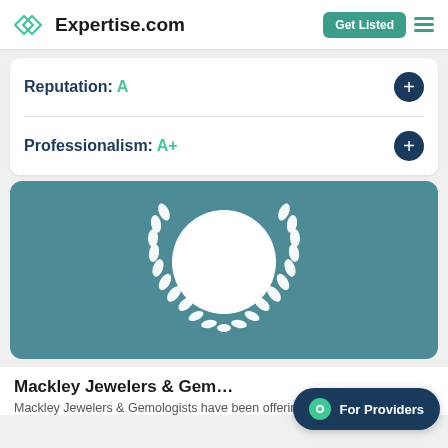Expertise.com
Reputation: A
Professionalism: A+
[Figure (illustration): Expertise.com award badge: white laurel wreath encircling a white circle on a teal/steel-blue background]
Mackley Jewelers & Gemologists
Mackley Jewelers & Gemologists have been offering